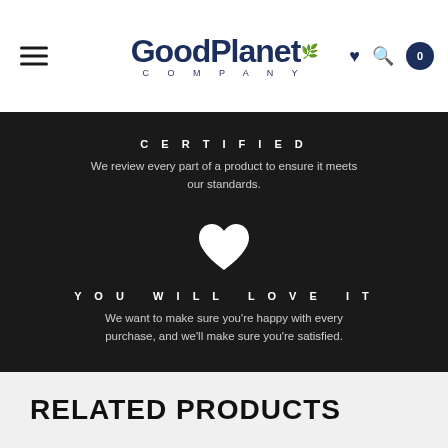GoodPlanet COMPANY
CERTIFIED
We review every part of a product to ensure it meets our standards.
[Figure (illustration): White heart icon on dark background]
YOU WILL LOVE IT
We want to make sure you're happy with every purchase, and we'll make sure you're satisfied.
RELATED PRODUCTS